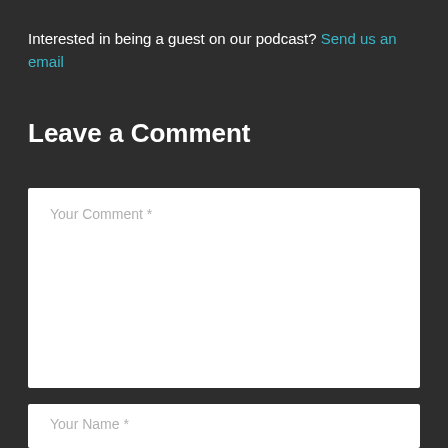Interested in being a guest on our podcast? Send us an email
Leave a Comment
[Figure (other): Text input area with placeholder 'Your Comment *']
[Figure (other): Text input area with placeholder 'Your Name *']